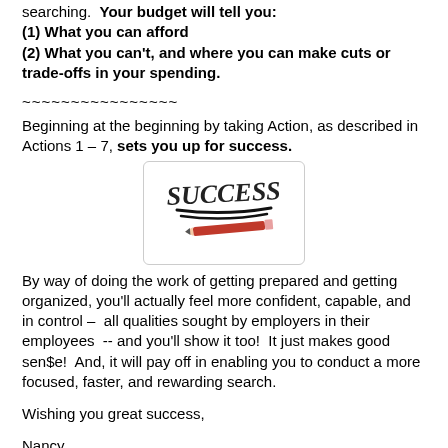searching.  Your budget will tell you:
(1) What you can afford
(2) What you can't, and where you can make cuts or trade-offs in your spending.
~~~~~~~~~~~~~~~~
Beginning at the beginning by taking Action, as described in Actions 1 – 7, sets you up for success.
[Figure (illustration): Handwritten word SUCCESS with a pencil underneath, inside a rounded rectangle box]
By way of doing the work of getting prepared and getting organized, you'll actually feel more confident, capable, and in control –  all qualities sought by employers in their employees  -- and you'll show it too!  It just makes good sen$e!  And, it will pay off in enabling you to conduct a more focused, faster, and rewarding search.
Wishing you great success,
Nancy